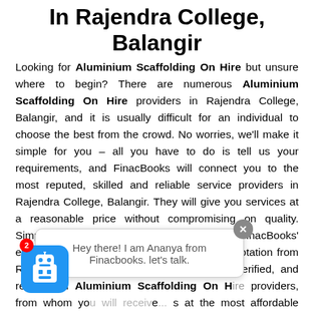In Rajendra College, Balangir
Looking for Aluminium Scaffolding On Hire but unsure where to begin? There are numerous Aluminium Scaffolding On Hire providers in Rajendra College, Balangir, and it is usually difficult for an individual to choose the best from the crowd. No worries, we'll make it simple for you – all you have to do is tell us your requirements, and FinacBooks will connect you to the most reputed, skilled and reliable service providers in Rajendra College, Balangir. They will give you services at a reasonable price without compromising on quality. Simply explain your service requirements to FinacBooks' experienced staff, and you will receive the quotation from Rajendra College, Balangir's most trusted, verified, and recognized Aluminium Scaffolding On Hire providers, from whom you will receive services at the most affordable prices. FinacBooks helps in saving customers time and effort by linking them with the most appropriate Aluminium Scaffolding On Hire